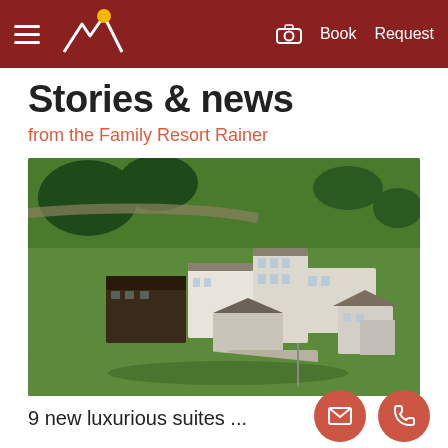Book  Request
Stories & news
from the Family Resort Rainer
[Figure (photo): Aerial view of Family Resort Rainer hotel complex surrounded by green Alpine meadows and trees]
9 new luxurious suites ...